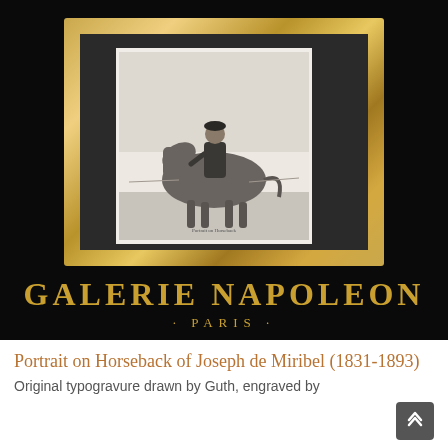[Figure (photo): A framed antique engraving showing a portrait on horseback of a military figure (Joseph de Miribel), displayed in an ornate gold frame with dark matting, against a black background. Below the frame is the gallery branding: GALERIE NAPOLEON - PARIS -]
Portrait on Horseback of Joseph de Miribel (1831-1893)
Original typogravure drawn by Guth, engraved by